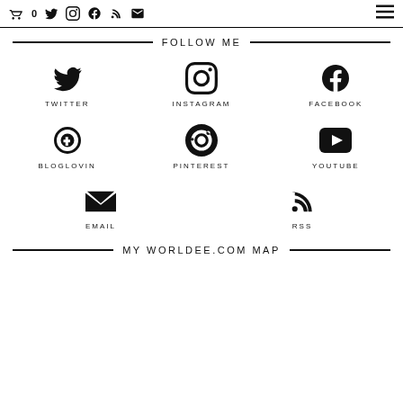🛒0 Twitter Instagram Facebook RSS Email ☰
FOLLOW ME
TWITTER
INSTAGRAM
FACEBOOK
BLOGLOVIN
PINTEREST
YOUTUBE
EMAIL
RSS
MY WORLDEE.COM MAP